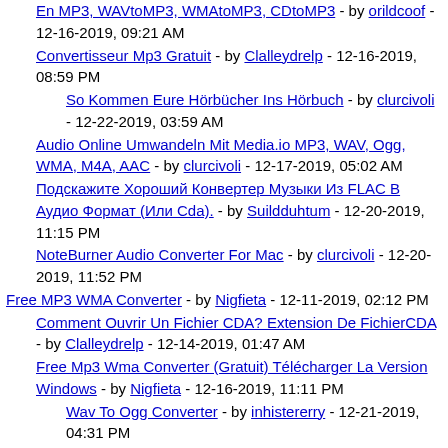En MP3, WAVtoMP3, WMAtoMP3, CDtoMP3 - by orildcoof - 12-16-2019, 09:21 AM
Convertisseur Mp3 Gratuit - by Clalleydrelp - 12-16-2019, 08:59 PM
So Kommen Eure Hörbücher Ins Hörbuch - by clurcivoli - 12-22-2019, 03:59 AM
Audio Online Umwandeln Mit Media.io MP3, WAV, Ogg, WMA, M4A, AAC - by clurcivoli - 12-17-2019, 05:02 AM
Подскажите Хороший Конвертер Музыки Из FLAC В Аудио Формат (Или Cda). - by Suildduhtum - 12-20-2019, 11:15 PM
NoteBurner Audio Converter For Mac - by clurcivoli - 12-20-2019, 11:52 PM
Free MP3 WMA Converter - by Nigfieta - 12-11-2019, 02:12 PM
Comment Ouvrir Un Fichier CDA? Extension De FichierCDA - by Clalleydrelp - 12-14-2019, 01:47 AM
Free Mp3 Wma Converter (Gratuit) Télécharger La Version Windows - by Nigfieta - 12-16-2019, 11:11 PM
Wav To Ogg Converter - by inhistererry - 12-21-2019, 04:31 PM
Скачать Конверт Wav В Mp3. Salon - by Suildduhtum - 12-22-2019, 07:41 AM
Helium Audio Converter - by clurcivoli - 12-23-